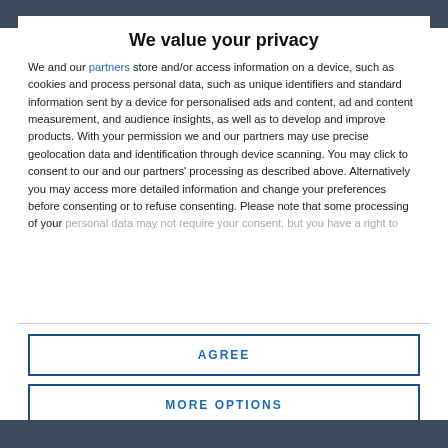[Figure (photo): Dark background image strip at top of page]
We value your privacy
We and our partners store and/or access information on a device, such as cookies and process personal data, such as unique identifiers and standard information sent by a device for personalised ads and content, ad and content measurement, and audience insights, as well as to develop and improve products. With your permission we and our partners may use precise geolocation data and identification through device scanning. You may click to consent to our and our partners' processing as described above. Alternatively you may access more detailed information and change your preferences before consenting or to refuse consenting. Please note that some processing of your personal data may not require your consent, but you have a right to
AGREE
MORE OPTIONS
[Figure (photo): Dark background image strip at bottom of page]